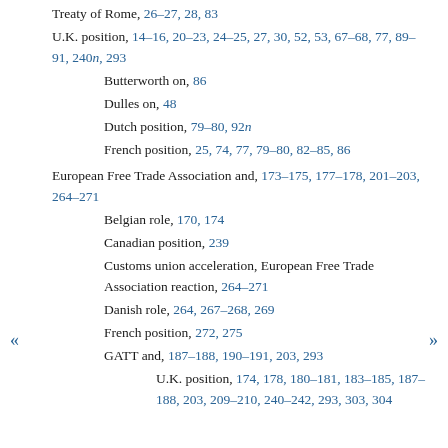Treaty of Rome, 26–27, 28, 83
U.K. position, 14–16, 20–23, 24–25, 27, 30, 52, 53, 67–68, 77, 89–91, 240n, 293
Butterworth on, 86
Dulles on, 48
Dutch position, 79–80, 92n
French position, 25, 74, 77, 79–80, 82–85, 86
European Free Trade Association and, 173–175, 177–178, 201–203, 264–271
Belgian role, 170, 174
Canadian position, 239
Customs union acceleration, European Free Trade Association reaction, 264–271
Danish role, 264, 267–268, 269
French position, 272, 275
GATT and, 187–188, 190–191, 203, 293
U.K. position, 174, 178, 180–181, 183–185, 187–188, 203, 209–210, 240–242, 293, 303, 304